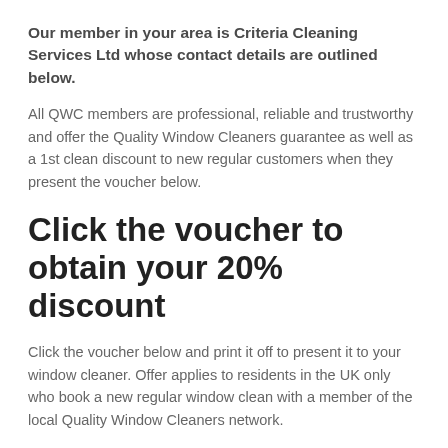Our member in your area is Criteria Cleaning Services Ltd whose contact details are outlined below.
All QWC members are professional, reliable and trustworthy and offer the Quality Window Cleaners guarantee as well as a 1st clean discount to new regular customers when they present the voucher below.
Click the voucher to obtain your 20% discount
Click the voucher below and print it off to present it to your window cleaner. Offer applies to residents in the UK only who book a new regular window clean with a member of the local Quality Window Cleaners network.